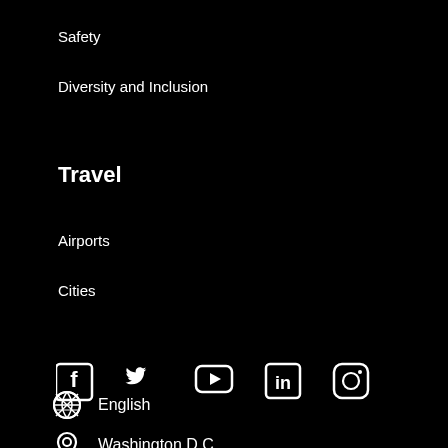Safety
Diversity and Inclusion
Travel
Airports
Cities
[Figure (infographic): Social media icons row: Facebook, Twitter, YouTube, LinkedIn, Instagram]
English
Washington D.C.